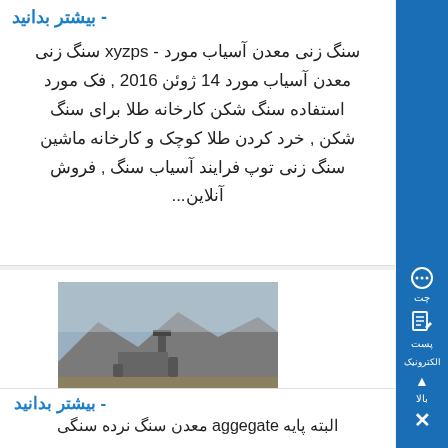- بیشتر بدانید
سنگ زنی معدن آسیاب مورد - xyzps سنگ زنی معدن آسیاب مورد 14 ژوئن 2016 , فک مورد استفاده سنگ شکن کارخانه طلا برای سنگ شکن , خرد کردن طلا کوچک و کارخانه ماشین سنگ زنی توپ فرایند آسیاب سنگ , فروش آنلاین...
[Figure (photo): Mining/quarry machinery photograph showing construction equipment at a stone quarry site]
البته پایه aggegate معدن سنگ
- بیشتر بدانید
البته پایه aggegate معدن سنگ نرده سنگی